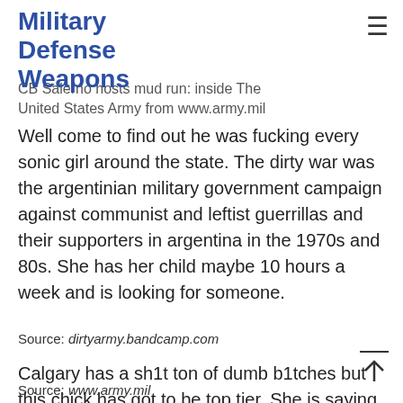Military Defense Weapons
CB Salerno hosts mud run: inside the United States Army from www.army.mil
Well come to find out he was fucking every sonic girl around the state. The dirty war was the argentinian military government campaign against communist and leftist guerrillas and their supporters in argentina in the 1970s and 80s. She has her child maybe 10 hours a week and is looking for someone.
Source: dirtyarmy.bandcamp.com
Calgary has a sh1t ton of dumb b1tches but this chick has got to be top tier. She is saying non of the comments are true and that she is not an escort/prostitute and she just likes to party and have a.
Source: www.army.mil